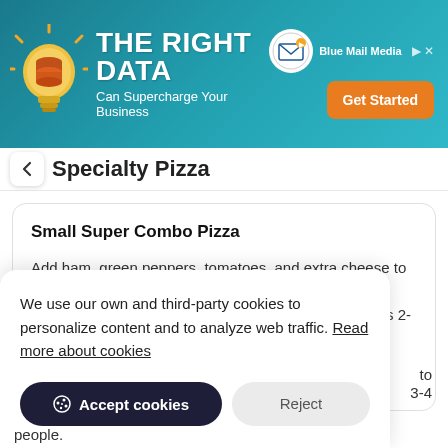[Figure (screenshot): Advertisement banner for Blue Mail Media with text 'THE RIGHT DATA Can Supercharge Your Business' and a Get Started button]
Specialty Pizza
Small Super Combo Pizza
Add ham, green peppers, tomatoes, and extra cheese to the Classic Combo and you get a pizza that is serious about deliverin' da goods! A 10" pizza (6 slices). Feeds 2-3 people.
13.49 USD
We use our own and third-party cookies to personalize content and to analyze web traffic. Read more about cookies
Accept cookies
Reject